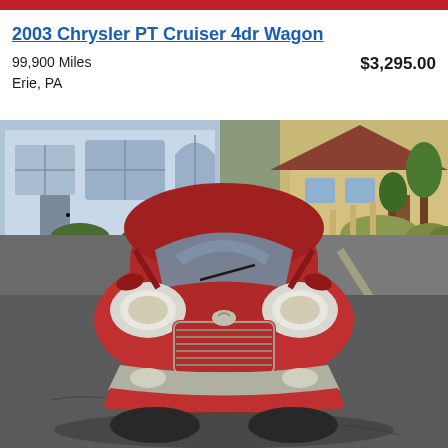2003 Chrysler PT Cruiser 4dr Wagon
99,900 Miles
Erie, PA
$3,295.00
[Figure (photo): Front view of a red 2003 Chrysler PT Cruiser 4dr Wagon parked in a lot. A commercial building with large windows is visible in the background to the left, and a yellow house with trees is visible to the right. The car has a distinctive rounded hood, oval headlights, and chrome grille.]